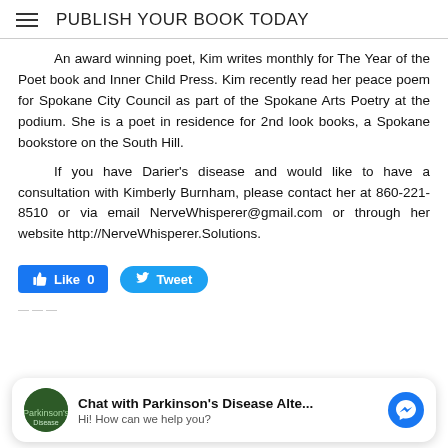PUBLISH YOUR BOOK TODAY
An award winning poet, Kim writes monthly for The Year of the Poet book and Inner Child Press. Kim recently read her peace poem for Spokane City Council as part of the Spokane Arts Poetry at the podium. She is a poet in residence for 2nd look books, a Spokane bookstore on the South Hill.
If you have Darier's disease and would like to have a consultation with Kimberly Burnham, please contact her at 860-221-8510 or via email NerveWhisperer@gmail.com or through her website http://NerveWhisperer.Solutions.
[Figure (screenshot): Social media buttons: Facebook Like (0) button and Twitter Tweet button]
[Figure (screenshot): Chat widget: Chat with Parkinson's Disease Alte... Hi! How can we help you? with avatar and Messenger icon]